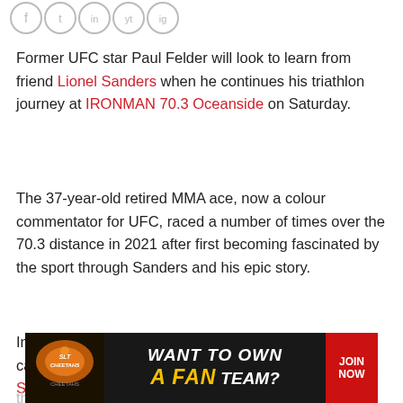[Figure (other): Row of social media icon circles at top of page]
Former UFC star Paul Felder will look to learn from friend Lionel Sanders when he continues his triathlon journey at IRONMAN 70.3 Oceanside on Saturday.
The 37-year-old retired MMA ace, now a colour commentator for UFC, raced a number of times over the 70.3 distance in 2021 after first becoming fascinated by the sport through Sanders and his epic story.
In 2022 the main date on Felder's swim/bike/run calendar is the IRONMAN 70.3 World Championship at St George in October. First though he kicks off his year in California, and he'll use race week to observe how the p[cut off by ad banner]
[Figure (photo): Advertisement banner: SLT Cheetahs logo on left, 'WANT TO OWN A FAN TEAM?' text in center with yellow and white styling on dark background, 'JOIN NOW' button on red background on right]